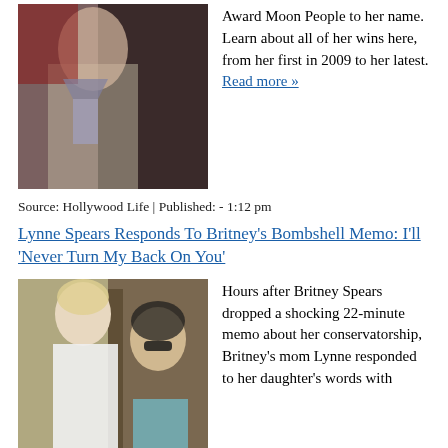[Figure (photo): Woman in sparkly silver outfit holding an MTV Moon Person award on stage]
Award Moon People to her name. Learn about all of her wins here, from her first in 2009 to her latest. Read more »
Source: Hollywood Life | Published: - 1:12 pm
Lynne Spears Responds To Britney's Bombshell Memo: I'll 'Never Turn My Back On You'
[Figure (photo): Two women outdoors, one blonde in white dress and one brunette with sunglasses]
Hours after Britney Spears dropped a shocking 22-minute memo about her conservatorship, Britney's mom Lynne responded to her daughter's words with